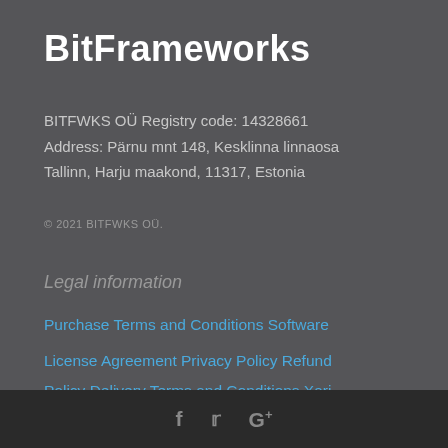BitFrameworks
BITFWKS OÜ Registry code: 14328661
Address: Pärnu mnt 148, Kesklinna linnaosa
Tallinn, Harju maakond, 11317, Estonia
© 2021 BITFWKS OÜ.
Legal information
Purchase Terms and Conditions Software
License Agreement Privacy Policy Refund
Policy Delivery Terms and Conditions Xari
f  𝕏  G+